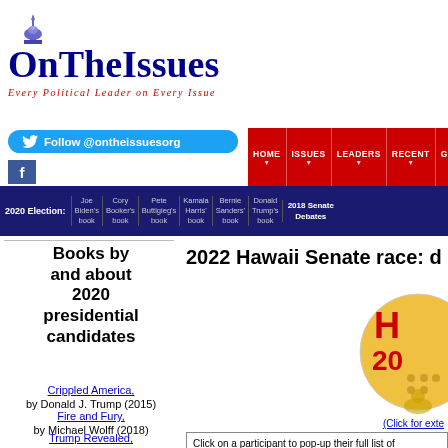[Figure (logo): OnTheIssues website logo with capitol building icon and tagline 'Every Political Leader on Every Issue']
Follow @ontheissuesorg
HOME | ISSUES | LEADERS | RECENT | GRID | ARCH
2020 Election: Joe Biden's book | Cory Booker's book | Pete Buttigieg's book | Kamala Harris' book | Bernie Sanders' book | Donald Trump's book | 2018 Senate Debates
2022 Hawaii Senate race: d
Books by and about 2020 presidential candidates
Crippled America, by Donald J. Trump (2015)
Fire and Fury, by Michael Wolff (2018)
Trump Revealed, by Michael Kranish and Marc Fisher (2016)
The Making of Donald
[Figure (infographic): Partial circular infographic with H 20 text visible and honeycomb/dot pattern]
(Click for exte
Click on a participant to pop-up their full list of quotes from 2022 HI Senate race (number of quotes)